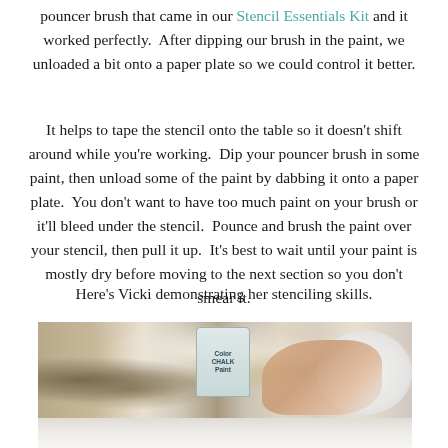pouncer brush that came in our Stencil Essentials Kit and it worked perfectly.  After dipping our brush in the paint, we unloaded a bit onto a paper plate so we could control it better.
It helps to tape the stencil onto the table so it doesn't shift around while you're working.  Dip your pouncer brush in some paint, then unload some of the paint by dabbing it onto a paper plate.  You don't want to have too much paint on your brush or it'll bleed under the stencil.  Pounce and brush the paint over your stencil, then pull it up.  It's best to wait until your paint is mostly dry before moving to the next section so you don't smear it.
Here's Vicki demonstrating her stenciling skills.
[Figure (photo): Photo of a person stenciling on a white surface. Visible items include a paint can, a chalk paint tin labeled 'CHALK', a green marker, a paper plate, and someone's hand working on the stencil.]